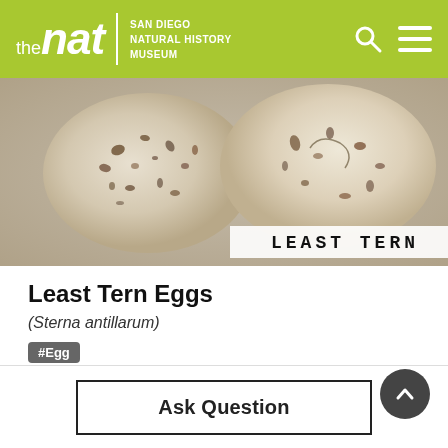the nat | SAN DIEGO NATURAL HISTORY MUSEUM
[Figure (photo): Two speckled Least Tern eggs on sandy/fuzzy surface with a label reading LEAST TERN]
Least Tern Eggs
(Sterna antillarum)
#Egg
Dimensions (in): 3x2x1
ID: ED-100-0381
Ask Question